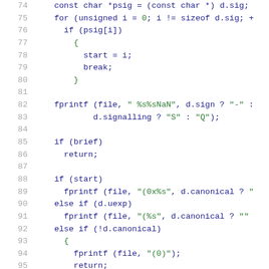Source code listing, lines 74-95, C/C++ code snippet showing NaN printing logic